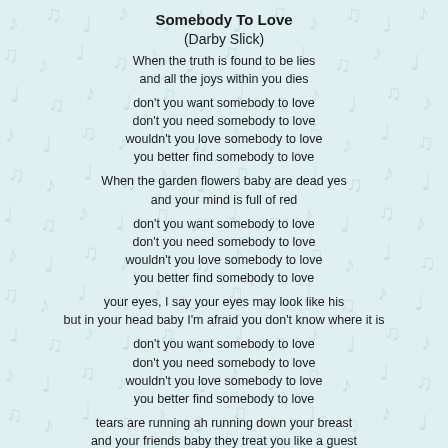Somebody To Love
(Darby Slick)
When the truth is found to be lies
and all the joys within you dies
don't you want somebody to love
don't you need somebody to love
wouldn't you love somebody to love
you better find somebody to love
When the garden flowers baby are dead yes
and your mind is full of red
don't you want somebody to love
don't you need somebody to love
wouldn't you love somebody to love
you better find somebody to love
your eyes, I say your eyes may look like his
but in your head baby I'm afraid you don't know where it is
don't you want somebody to love
don't you need somebody to love
wouldn't you love somebody to love
you better find somebody to love
tears are running ah running down your breast
and your friends baby they treat you like a guest